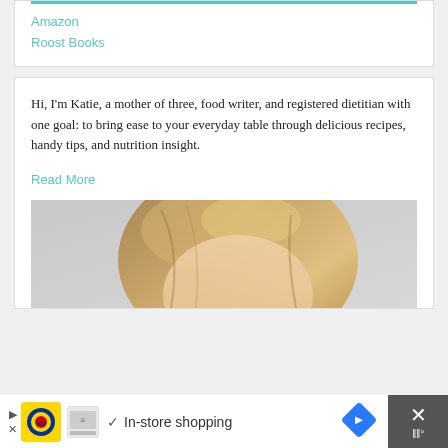Amazon
Roost Books
Hi, I'm Katie, a mother of three, food writer, and registered dietitian with one goal: to bring ease to your everyday table through delicious recipes, handy tips, and nutrition insight.
Read More
[Figure (photo): Portrait photo of a blonde woman, cropped to show the top of the head and hair against a light grey background]
[Figure (infographic): Advertisement bar at the bottom: Lidl store shopping ad with arrow navigation icon and close button]